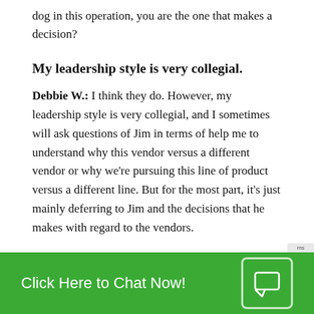dog in this operation, you are the one that makes a decision?
My leadership style is very collegial.
Debbie W.: I think they do. However, my leadership style is very collegial, and I sometimes will ask questions of Jim in terms of help me to understand why this vendor versus a different vendor or why we're pursuing this line of product versus a different line. But for the most part, it's just mainly deferring to Jim and the decisions that he makes with regard to the vendors.
Being a woman is really not a problem like it would have been 40 years ago.
Click Here to Chat Now!